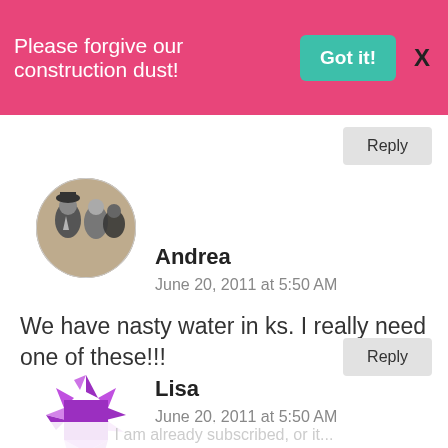Please forgive our construction dust! Got it! X
Reply
[Figure (photo): Circular avatar showing a vintage black and white photo of people at a party]
Andrea
June 20, 2011 at 5:50 AM
We have nasty water in ks. I really need one of these!!!
Reply
[Figure (logo): Purple geometric/triangular avatar logo for Lisa]
Lisa
June 20, 2011 at 5:50 AM
I am already subscribed, or it...